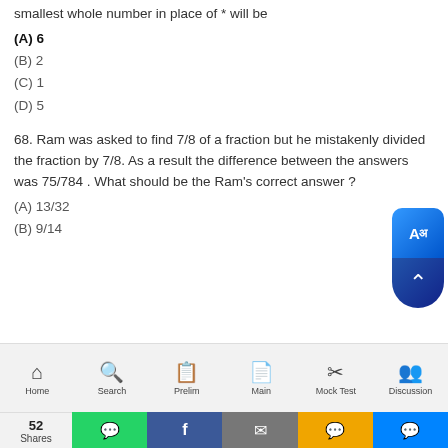smallest whole number in place of * will be
(A) 6
(B) 2
(C) 1
(D) 5
68. Ram was asked to find 7/8 of a fraction but he mistakenly divided the fraction by 7/8. As a result the difference between the answers was 75/784 . What should be the Ram's correct answer ?
(A) 13/32
(B) 9/14
Home | Search | Prelim | Main | Mock Test | Discussion
52 Shares